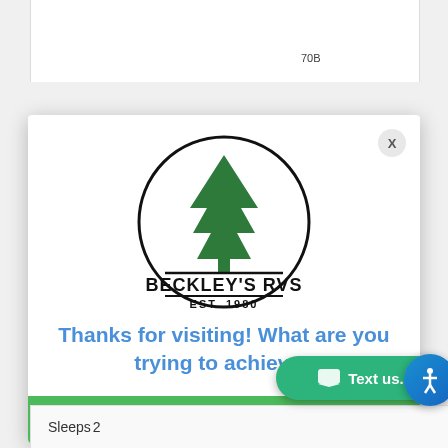70B
[Figure (logo): Beckley's RVs circular logo with pine tree graphic, text BECKLEY'S RVS and EST. 1980]
Thanks for visiting! What are you trying to achieve?
We'll do our best to guide you to the right spot.
Get a Grip on RV Shoppi...
|  |  |
| --- | --- |
| Sleeps | 2 |